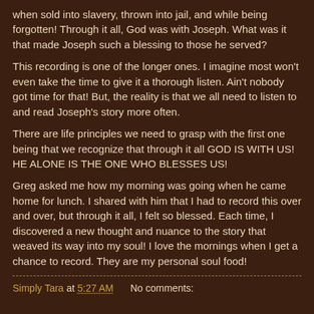when sold into slavery, thrown into jail, and while being forgotten! Through it all, God was with Joseph. What was it that made Joseph such a blessing to those he served?
This recording is one of the longer ones. I imagine most won't even take the time to give it a thorough listen. Ain't nobody got time for that! But, the reality is that we all need to listen to and read Joseph's story more often.
There are life principles we need to grasp with the first one being that we recognize that through it all GOD IS WITH US! HE ALONE IS THE ONE WHO BLESSES US!
Greg asked me how my morning was going when he came home for lunch. I shared with him that I had to record this over and over, but through it all, I felt so blessed. Each time, I discovered a new thought and nuance to the story that weaved its way into my soul! I love the mornings when I get a chance to record. They are my personal soul food!
Simply Tara at 5:27 AM    No comments: